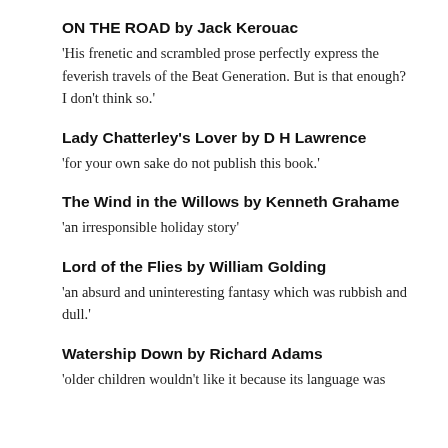ON THE ROAD by Jack Kerouac
‘His frenetic and scrambled prose perfectly express the feverish travels of the Beat Generation. But is that enough? I don’t think so.’
Lady Chatterley’s Lover by D H Lawrence
‘for your own sake do not publish this book.’
The Wind in the Willows by Kenneth Grahame
‘an irresponsible holiday story’
Lord of the Flies by William Golding
‘an absurd and uninteresting fantasy which was rubbish and dull.’
Watership Down by Richard Adams
‘older children wouldn’t like it because its language was